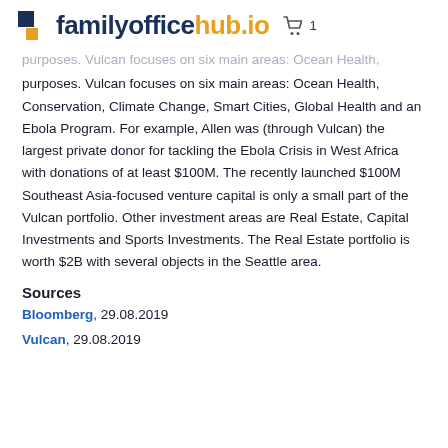familyofficehub.io
purposes. Vulcan focuses on six main areas: Ocean Health, Conservation, Climate Change, Smart Cities, Global Health and an Ebola Program. For example, Allen was (through Vulcan) the largest private donor for tackling the Ebola Crisis in West Africa with donations of at least $100M. The recently launched $100M Southeast Asia-focused venture capital is only a small part of the Vulcan portfolio. Other investment areas are Real Estate, Capital Investments and Sports Investments. The Real Estate portfolio is worth $2B with several objects in the Seattle area.
Sources
Bloomberg, 29.08.2019
Vulcan, 29.08.2019